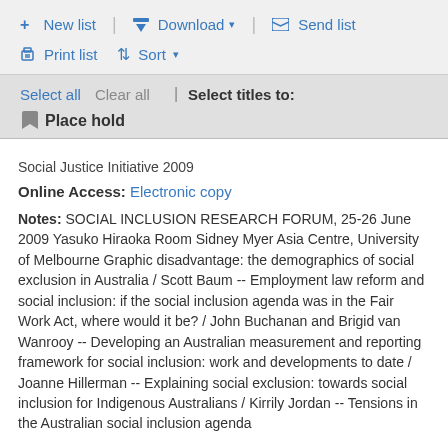+ New list | Download ▼ | Send list | Print list | Sort ▼
Select all   Clear all   |   Select titles to:
🔖 Place hold
Social Justice Initiative 2009
Online Access: Electronic copy
Notes: SOCIAL INCLUSION RESEARCH FORUM, 25-26 June 2009 Yasuko Hiraoka Room Sidney Myer Asia Centre, University of Melbourne Graphic disadvantage: the demographics of social exclusion in Australia / Scott Baum -- Employment law reform and social inclusion: if the social inclusion agenda was in the Fair Work Act, where would it be? / John Buchanan and Brigid van Wanrooy -- Developing an Australian measurement and reporting framework for social inclusion: work and developments to date / Joanne Hillerman -- Explaining social exclusion: towards social inclusion for Indigenous Australians / Kirrily Jordan -- Tensions in the Australian social inclusion agenda